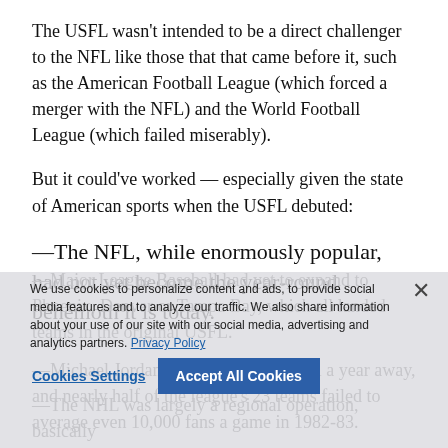The USFL wasn't intended to be a direct challenger to the NFL like those that that came before it, such as the American Football League (which forced a merger with the NFL) and the World Football League (which failed miserably).
But it could've worked — especially given the state of American sports when the USFL debuted:
—The NFL, while enormously popular, had not yet become the year-round behemoth it is today.
—Major League Baseball had yet to expand to Phoenix, Denver or Tampa Bay, which all landed teams in the original USFL.
—Michael Jordan's NBA debut was still a year away, and nearly half of the league's 23 teams failed to average even 10,000 fans a game in 1982-83.
—The NHL was largely a regional operation, basically
We use cookies to personalize content and ads, to provide social media features and to analyze our traffic. We also share information about your use of our site with our social media, advertising and analytics partners. Privacy Policy
Cookies Settings | Accept All Cookies